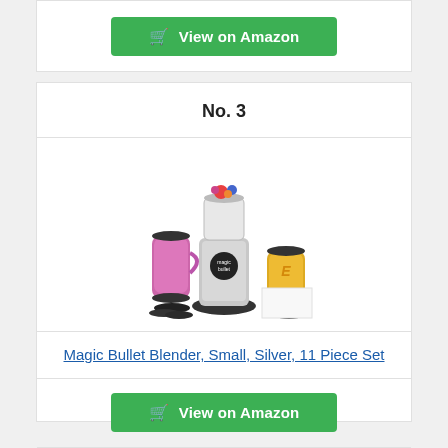View on Amazon
No. 3
[Figure (photo): Magic Bullet Blender, Small, Silver, 11 Piece Set product photo showing blender with cups and accessories]
Magic Bullet Blender, Small, Silver, 11 Piece Set
View on Amazon
No. 4